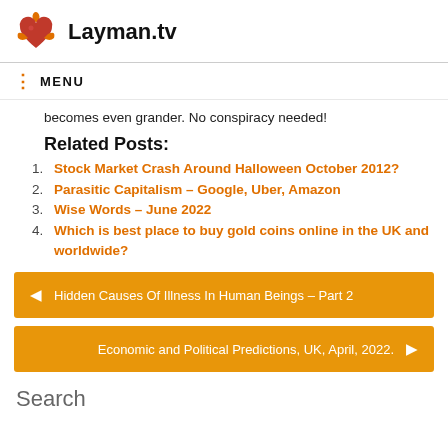Layman.tv
MENU
becomes even grander. No conspiracy needed!
Related Posts:
Stock Market Crash Around Halloween October 2012?
Parasitic Capitalism – Google, Uber, Amazon
Wise Words – June 2022
Which is best place to buy gold coins online in the UK and worldwide?
Hidden Causes Of Illness In Human Beings – Part 2
Economic and Political Predictions, UK, April, 2022.
Search